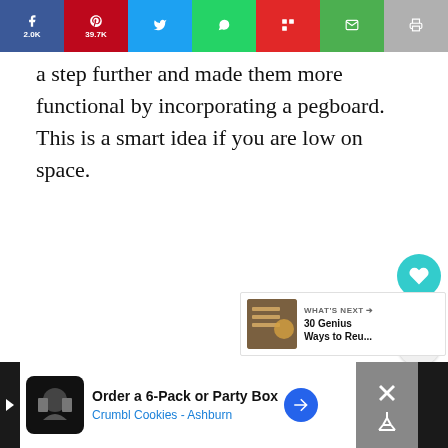[Figure (screenshot): Social share bar with Facebook (2.0K), Pinterest (39.7K), Twitter, WhatsApp, Flipboard, email, and print buttons]
a step further and made them more functional by incorporating a pegboard. This is a smart idea if you are low on space.
[Figure (infographic): Heart/like button showing 41.7K likes and a share icon button]
[Figure (infographic): What's Next panel: thumbnail image with text '30 Genius Ways to Reu...']
[Figure (screenshot): Advertisement banner: Order a 6-Pack or Party Box, Crumbl Cookies - Ashburn]